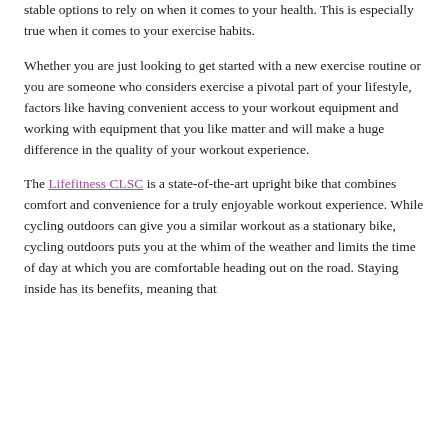stable options to rely on when it comes to your health. This is especially true when it comes to your exercise habits.
Whether you are just looking to get started with a new exercise routine or you are someone who considers exercise a pivotal part of your lifestyle, factors like having convenient access to your workout equipment and working with equipment that you like matter and will make a huge difference in the quality of your workout experience.
The Lifefitness CLSC is a state-of-the-art upright bike that combines comfort and convenience for a truly enjoyable workout experience. While cycling outdoors can give you a similar workout as a stationary bike, cycling outdoors puts you at the whim of the weather and limits the time of day at which you are comfortable heading out on the road. Staying inside has its benefits, meaning that